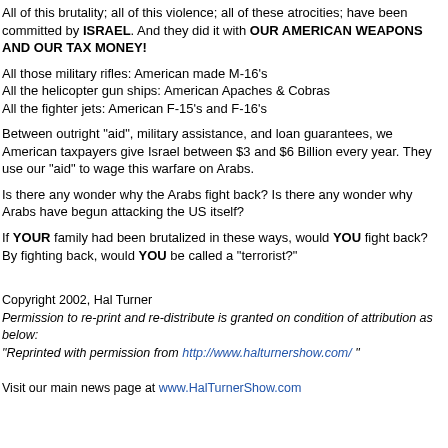All of this brutality;  all of this violence; all of these atrocities; have been committed by ISRAEL.  And they did it with OUR AMERICAN WEAPONS AND OUR TAX MONEY!
All those military rifles: American made M-16's
All the helicopter gun ships: American Apaches & Cobras
All the fighter jets: American F-15's and F-16's
Between outright "aid", military assistance, and loan guarantees, we American taxpayers give Israel between $3 and $6 Billion every year.   They use our "aid" to wage this warfare on Arabs.
Is there any wonder why the Arabs fight back?  Is there any wonder why Arabs have begun attacking the US itself?
If YOUR family had been brutalized in these ways, would YOU fight back?  By fighting back, would YOU be called a "terrorist?"
Copyright 2002, Hal Turner
Permission to re-print and re-distribute is granted on condition of attribution as below:
"Reprinted with permission from http://www.halturnershow.com/ "

Visit our main news page at www.HalTurnerShow.com